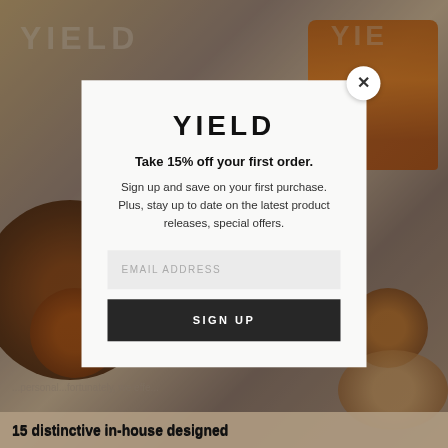[Figure (screenshot): Background photo of amber/brown glassware and wooden tableware on a table, with a YIELD brand watermark visible at top left. Page is a website screenshot with a modal popup overlay.]
YIELD
Take 15% off your first order.
Sign up and save on your first purchase. Plus, stay up to date on the latest product releases, special offers.
EMAIL ADDRESS
SIGN UP
15 distinctive in-house designed